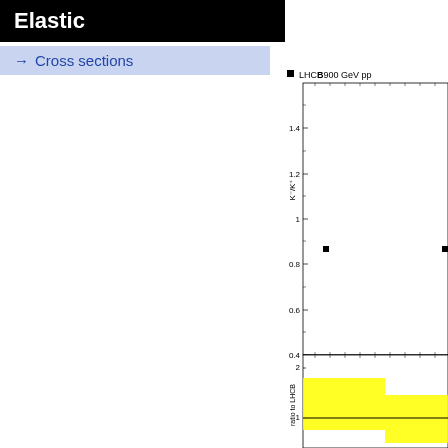Elastic
→ Cross sections
[Figure (continuous-plot): Scatter plot showing K-/K+ ratio vs some variable (likely pT or rapidity) at LHCb 900 GeV pp. Y-axis labeled K-/K+ ranging from about 0.4 to above 1.5. Two data points visible around y~0.87. Bottom panel shows ratio to LHCB with yellow band around 1, ranging from about 0.7 to 2. Text 'K/K- vs' and 'LHCB_2' visible.]